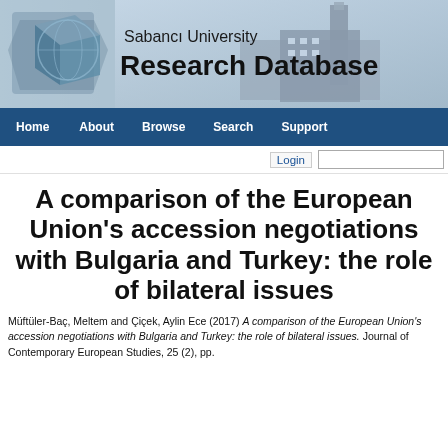[Figure (illustration): Sabanci University Research Database header banner with globe/cube logo on left and university building photo on right, with text 'Sabanci University Research Database']
Home   About   Browse   Search   Support
A comparison of the European Union's accession negotiations with Bulgaria and Turkey: the role of bilateral issues
Müftüler-Baç, Meltem and Çiçek, Aylin Ece (2017) A comparison of the European Union's accession negotiations with Bulgaria and Turkey: the role of bilateral issues. Journal of Contemporary European Studies, 25 (2), pp.